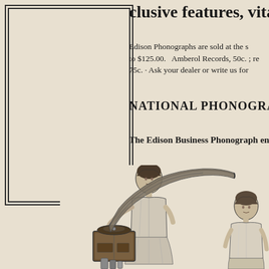clusive features, vital to perfe
Edison Phonographs are sold at the s to $125.00. Amberol Records, 50c.; re 75c. Ask your dealer or write us for
NATIONAL PHONOGRAPH C
The Edison Business Phonograph ena
[Figure (illustration): Illustration of two women with an Edison phonograph/gramophone device with a large horn. One woman is standing and operating the device, the other is seated to the right.]